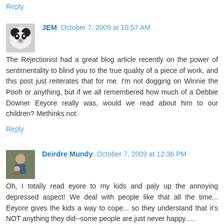Reply
JEM  October 7, 2009 at 10:57 AM
The Rejectionist had a great blog article recently on the power of sentimentality to blind you to the true quality of a piece of work, and this post just reiterates that for me. I'm not dogging on Winnie the Pooh or anything, but if we all remembered how much of a Debbie Downer Eeyore really was, would we read about him to our children? Methinks not.
Reply
Deirdre Mundy  October 7, 2009 at 12:36 PM
Oh, I totally read eyore to my kids and paly up the annoying depressed aspect! We deal with people like that all the time... Eeyore gives the kids a way to cope... so they understand that it's NOT anything they did--some people are just never happy.....